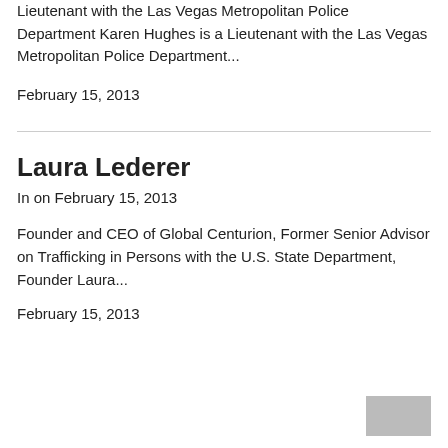Lieutenant with the Las Vegas Metropolitan Police Department Karen Hughes is a Lieutenant with the Las Vegas Metropolitan Police Department...
February 15, 2013
Laura Lederer
In on February 15, 2013
Founder and CEO of Global Centurion, Former Senior Advisor on Trafficking in Persons with the U.S. State Department, Founder Laura...
February 15, 2013